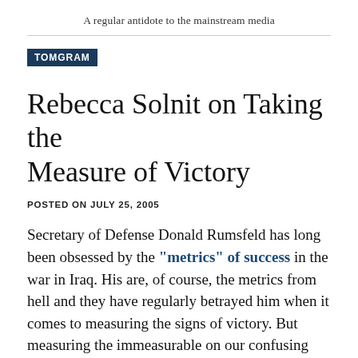A regular antidote to the mainstream media
TOMGRAM
Rebecca Solnit on Taking the Measure of Victory
POSTED ON JULY 25, 2005
Secretary of Defense Donald Rumsfeld has long been obsessed by the “metrics” of success in the war in Iraq. His are, of course, the metrics from hell and they have regularly betrayed him when it comes to measuring the signs of victory. But measuring the immeasurable on our confusing planet is no small task and it’s not restricted to the Rumsfelds of our world either.